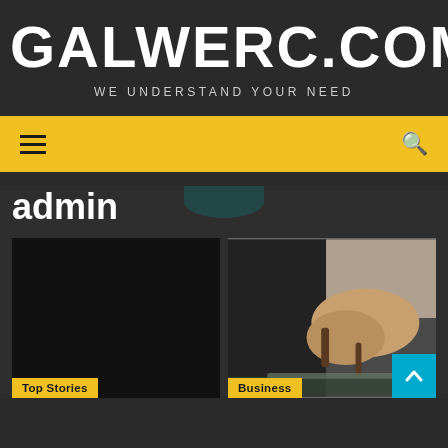GALWERC.COM
WE UNDERSTAND YOUR NEED
[Figure (screenshot): Yellow navigation bar with hamburger menu icon on left and search icon on right]
admin
[Figure (photo): Dark placeholder card with 'Top Stories' tag in yellow at bottom left]
[Figure (photo): Photo of hands working with metal/glass surface, with 'Business' tag in yellow at bottom left and cyan scroll-to-top button at bottom right]